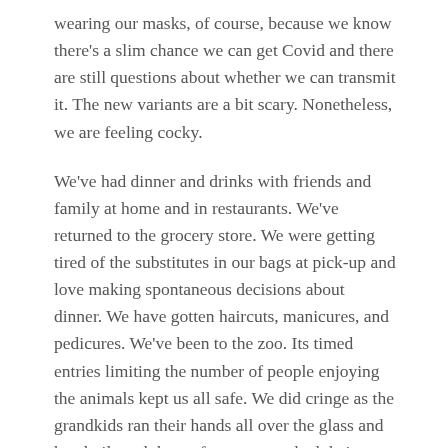wearing our masks, of course, because we know there's a slim chance we can get Covid and there are still questions about whether we can transmit it. The new variants are a bit scary. Nonetheless, we are feeling cocky.
We've had dinner and drinks with friends and family at home and in restaurants. We've returned to the grocery store. We were getting tired of the substitutes in our bags at pick-up and love making spontaneous decisions about dinner. We have gotten haircuts, manicures, and pedicures. We've been to the zoo. Its timed entries limiting the number of people enjoying the animals kept us all safe. We did cringe as the grandkids ran their hands all over the glass and handrails and then, of course, touched their faces! Oh well, we looked at it as building immunities.
We are ready to play bridge in person, foregoing our online games. Others, we hear, are joining the club—Retired Old Men Eating Out. Yes, it's real. Tom Brokow introduced